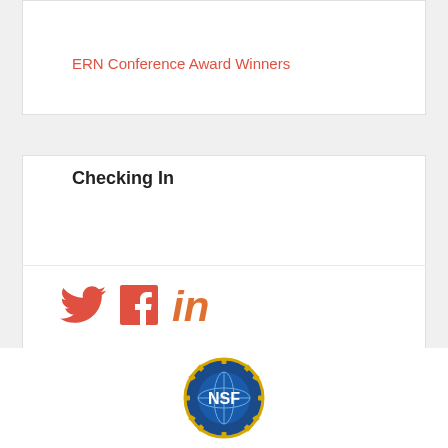ERN Conference Award Winners
Checking In
[Figure (illustration): Social media icons: Twitter bird (red), Facebook f (red), LinkedIn in (orange-red)]
[Figure (logo): NSF (National Science Foundation) circular logo with globe and gold gear border]